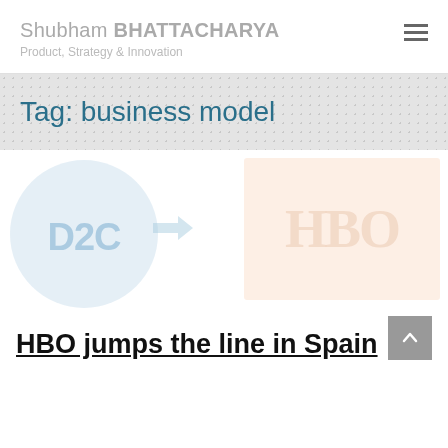Shubham BHATTACHARYA — Product, Strategy & Innovation
Tag: business model
[Figure (illustration): D2C arrow watermark illustration — light blue circle with D2C text and arrow pointing right, next to a light peach/orange rectangular card with faded text]
HBO jumps the line in Spain